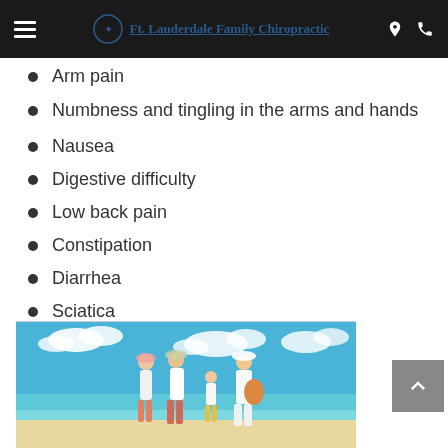Ft. Lauderdale Family Chiropractic
Arm pain
Numbness and tingling in the arms and hands
Nausea
Digestive difficulty
Low back pain
Constipation
Diarrhea
Sciatica
Knee pain
Sleep difficulty
[Figure (photo): Family of four walking on beach viewed from behind — two adults wearing hats and a child, sunny day with blue sky and turquoise water]